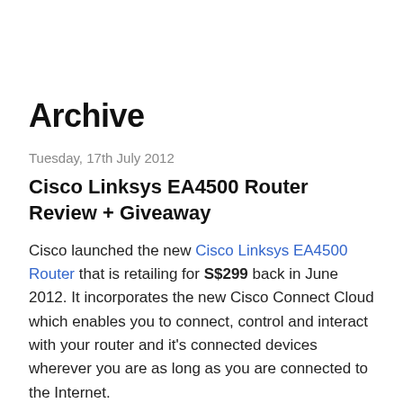Archive
Tuesday, 17th July 2012
Cisco Linksys EA4500 Router Review + Giveaway
Cisco launched the new Cisco Linksys EA4500 Router that is retailing for S$299 back in June 2012. It incorporates the new Cisco Connect Cloud which enables you to connect, control and interact with your router and it's connected devices wherever you are as long as you are connected to the Internet.